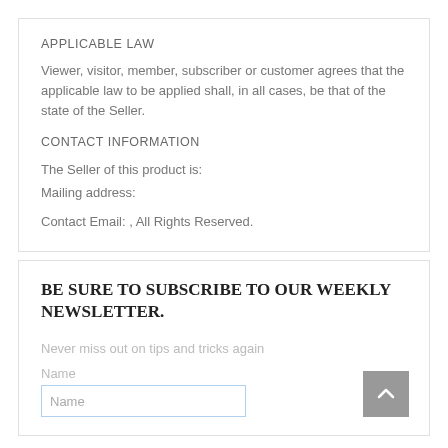APPLICABLE LAW
Viewer, visitor, member, subscriber or customer agrees that the applicable law to be applied shall, in all cases, be that of the state of the Seller.
CONTACT INFORMATION
The Seller of this product is:
Mailing address:
Contact Email: , All Rights Reserved.
BE SURE TO SUBSCRIBE TO OUR WEEKLY NEWSLETTER.
Never miss out on tips and tricks again
Name
Name